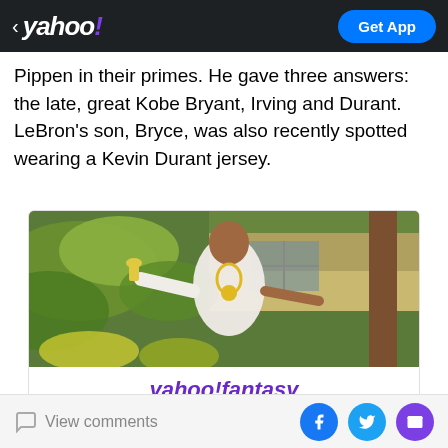< yahoo! | Get App
Pippen in their primes. He gave three answers: the late, great Kobe Bryant, Irving and Durant. LeBron's son, Bryce, was also recently spotted wearing a Kevin Durant jersey.
[Figure (photo): Advertisement for Yahoo! Fantasy showing a man in a white jacket with gold chain posing with arms outstretched, in front of tropical plants. Below the image: yahoo!fantasy logo, 'Play fantasy football Get your people on the free and easy fantasy app']
View comments | Facebook | Twitter | Mail